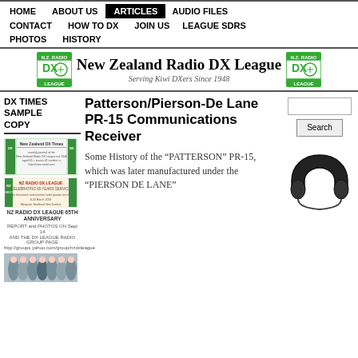HOME  ABOUT US  ARTICLES  AUDIO FILES  CONTACT  HOW TO DX  JOIN US  LEAGUE SDRS  PHOTOS  HISTORY
[Figure (logo): New Zealand Radio DX League banner with logo on left and right, title text center]
DX TIMES SAMPLE COPY
[Figure (screenshot): New Zealand DX Times newsletter cover image]
[Figure (screenshot): NZ Radio DX League 65 Years Service anniversary flyer]
NZ RADIO DX LEAGUE 65TH ANNIVERSARY
[Figure (photo): Group photo of NZ Radio DX League members]
Patterson/Pierson-De Lane PR-15 Communications Receiver
Some History of the "PATTERSON" PR-15, which was later manufactured under the "PIERSON DE LANE"
[Figure (illustration): Join Us headphones graphic with text Join Us]